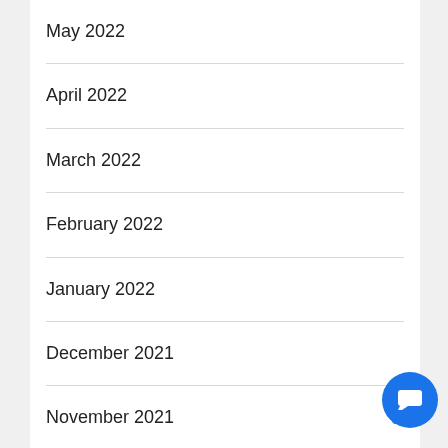May 2022
April 2022
March 2022
February 2022
January 2022
December 2021
November 2021
October 2021
September 2021
[Figure (illustration): Blue chat/message bubble button widget in the bottom right corner]